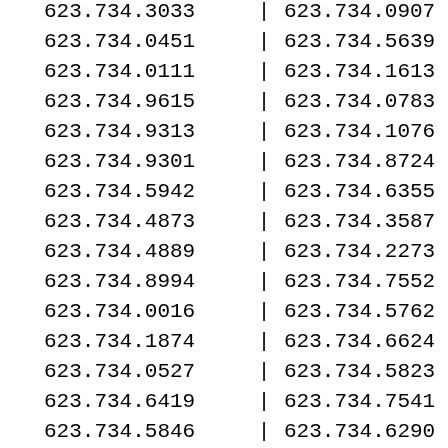| Col1 | | | Col2 | | |
| --- | --- | --- | --- |
| 623.734.3033 | | | 623.734.0907 | | |
| 623.734.0451 | | | 623.734.5639 | | |
| 623.734.0111 | | | 623.734.1613 | | |
| 623.734.9615 | | | 623.734.0783 | | |
| 623.734.9313 | | | 623.734.1076 | | |
| 623.734.9301 | | | 623.734.8724 | | |
| 623.734.5942 | | | 623.734.6355 | | |
| 623.734.4873 | | | 623.734.3587 | | |
| 623.734.4889 | | | 623.734.2273 | | |
| 623.734.8994 | | | 623.734.7552 | | |
| 623.734.0016 | | | 623.734.5762 | | |
| 623.734.1874 | | | 623.734.6624 | | |
| 623.734.0527 | | | 623.734.5823 | | |
| 623.734.6419 | | | 623.734.7541 | | |
| 623.734.5846 | | | 623.734.6290 | | |
| 623.734.0789 | | | 623.734.6405 | | |
| 623.734.6943 | | | 623.734.3547 | | |
| 623.734.3578 | | | 623.734.8612 | | |
| 623.734.0229 | | | 623.734.7299 | | |